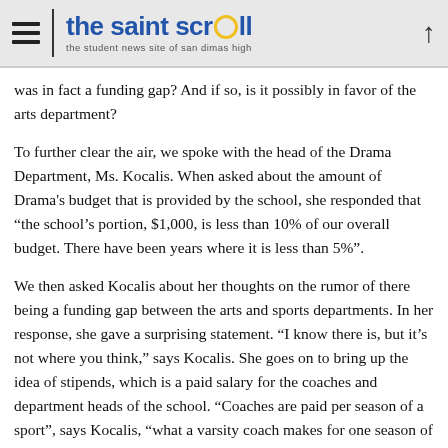the saint scroll — the student news site of san dimas high
was in fact a funding gap? And if so, is it possibly in favor of the arts department?
To further clear the air, we spoke with the head of the Drama Department, Ms. Kocalis. When asked about the amount of Drama's budget that is provided by the school, she responded that "the school's portion, $1,000, is less than 10% of our overall budget. There have been years where it is less than 5%".
We then asked Kocalis about her thoughts on the rumor of there being a funding gap between the arts and sports departments. In her response, she gave a surprising statement. "I know there is, but it's not where you think," says Kocalis. She goes on to bring up the idea of stipends, which is a paid salary for the coaches and department heads of the school. "Coaches are paid per season of a sport", says Kocalis, "what a varsity coach makes for one season of their sport is about equal to what I make per year as the theatre director". Kocalis also brings up the fact that within sports programs, JV coaches and assistant coaches are paid a stipend by the school, while the drama department's musical director and choreographer are not paid by the